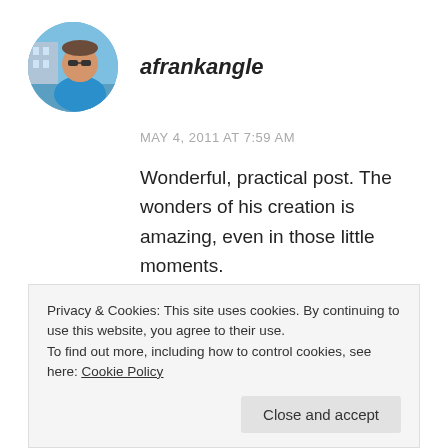[Figure (photo): Circular avatar photo of a man wearing sunglasses and a blue shirt, outdoors near water and buildings]
afrankangle
MAY 4, 2011 AT 7:59 AM
Wonderful, practical post. The wonders of his creation is amazing, even in those little moments.
REPLY
[Figure (photo): Partially visible circular avatar photo at bottom of page]
Privacy & Cookies: This site uses cookies. By continuing to use this website, you agree to their use.
To find out more, including how to control cookies, see here: Cookie Policy
Close and accept